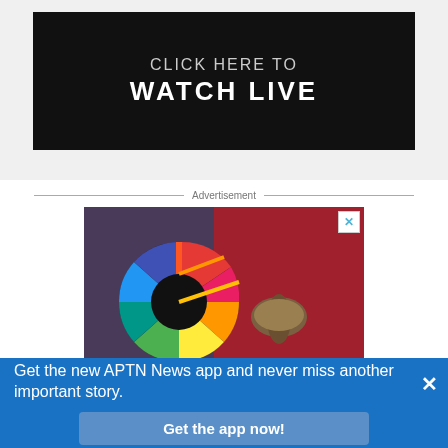[Figure (screenshot): Black banner with text 'CLICK HERE TO WATCH LIVE']
Advertisement
[Figure (photo): Advertisement image showing a colorful pinwheel/UN SDG wheel and a person holding a mushroom against a red background, with a close X button]
Get the new APTN News app and never miss another important story.
Get the app now!